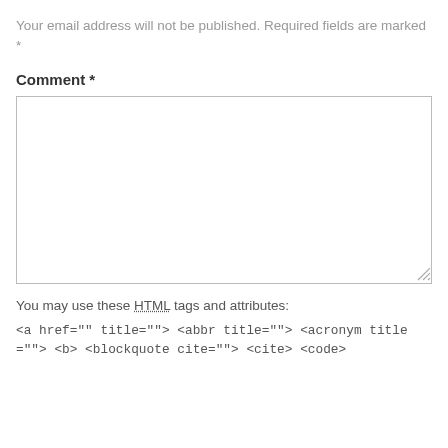Your email address will not be published. Required fields are marked *
Comment *
[Figure (other): Empty comment textarea input box with resize handle]
You may use these HTML tags and attributes:
<a href="" title=""> <abbr title=""> <acronym title=""> <b> <blockquote cite=""> <cite> <code>